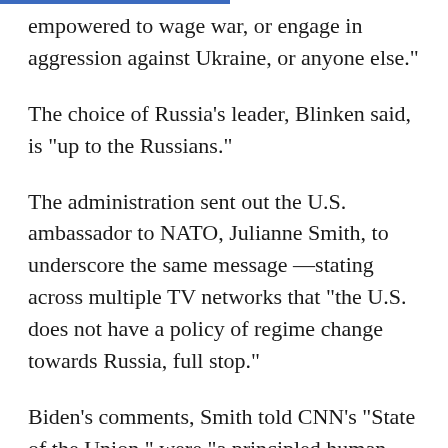empowered to wage war, or engage in aggression against Ukraine, or anyone else."
The choice of Russia's leader, Blinken said, is "up to the Russians."
The administration sent out the U.S. ambassador to NATO, Julianne Smith, to underscore the same message —stating across multiple TV networks that "the U.S. does not have a policy of regime change towards Russia, full stop."
Biden's comments, Smith told CNN's "State of the Union," were "a principled human reaction to the stories that he had heard" during an emotional visit